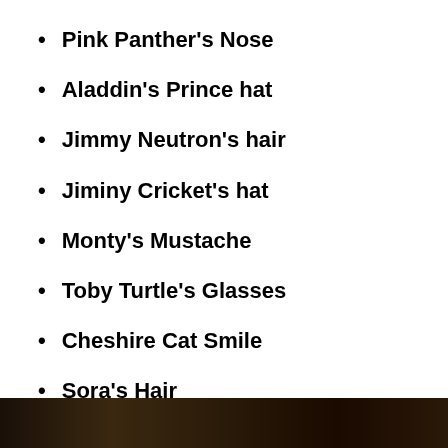Pink Panther's Nose
Aladdin's Prince hat
Jimmy Neutron's hair
Jiminy Cricket's hat
Monty's Mustache
Toby Turtle's Glasses
Cheshire Cat Smile
Sora's Hair
[Figure (photo): Dark photograph visible at bottom of page]